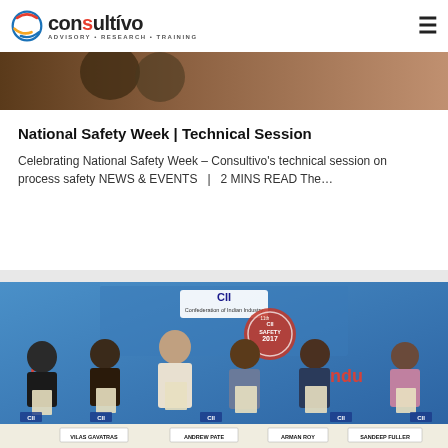consultivo ADVISORY • RESEARCH • TRAINING
[Figure (photo): Top cropped image strip showing people in a meeting or event setting]
National Safety Week | Technical Session
Celebrating National Safety Week – Consultivo's technical session on process safety NEWS & EVENTS | 2 MINS READ The…
[Figure (photo): Group photo at CII 11th Symposium & Exposition on Safety 2017. Several people in formal attire standing at a dais, each holding a booklet/publication. A banner in the background reads 'CII Confederation of Indian Industry' and 'Safety 2017'. Name placards visible: VILAS GAVATRAS, ANDREW PATE, ARMAN ROY, SANDEEP FULLER.]